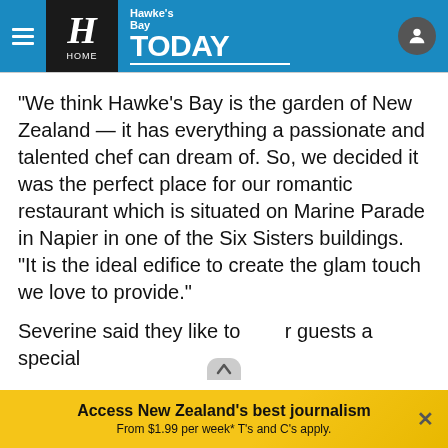Hawke's Bay TODAY - HOME
"We think Hawke's Bay is the garden of New Zealand — it has everything a passionate and talented chef can dream of. So, we decided it was the perfect place for our romantic restaurant which is situated on Marine Parade in Napier in one of the Six Sisters buildings.
"It is the ideal edifice to create the glam touch we love to provide."
Severine said they like to offer guests a special
Access New Zealand's best journalism
From $1.99 per week* T's and C's apply.